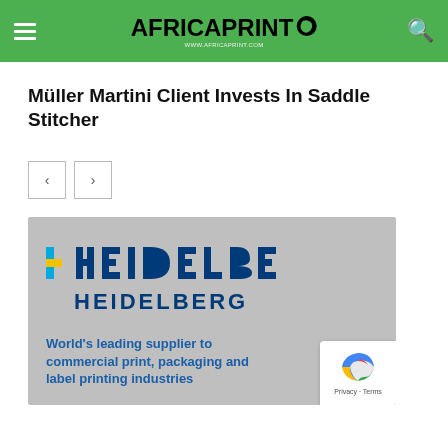Africa Print — www.africaprint.com
Müller Martini Client Invests In Saddle Stitcher
[Figure (illustration): Navigation previous and next arrow buttons]
[Figure (illustration): Heidelberg advertisement banner with logo and tagline: World's leading supplier to commercial print, packaging and label printing industries]